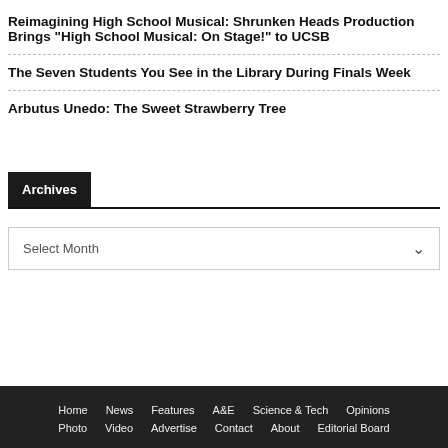Reimagining High School Musical: Shrunken Heads Production Brings "High School Musical: On Stage!" to UCSB
The Seven Students You See in the Library During Finals Week
Arbutus Unedo: The Sweet Strawberry Tree
Archives
Select Month
Home  News  Features  A&E  Science & Tech  Opinions  Photo  Video  Advertise  Contact  About  Editorial Board